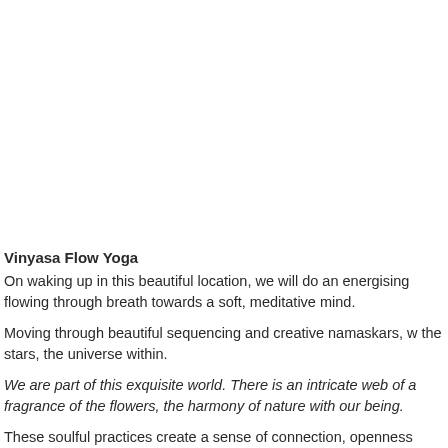Vinyasa Flow Yoga
On waking up in this beautiful location, we will do an energising flowing through breath towards a soft, meditative mind.
Moving through beautiful sequencing and creative namaskars, w the stars, the universe within.
We are part of this exquisite world. There is an intricate web of a fragrance of the flowers, the harmony of nature with our being.
These soulful practices create a sense of connection, openness